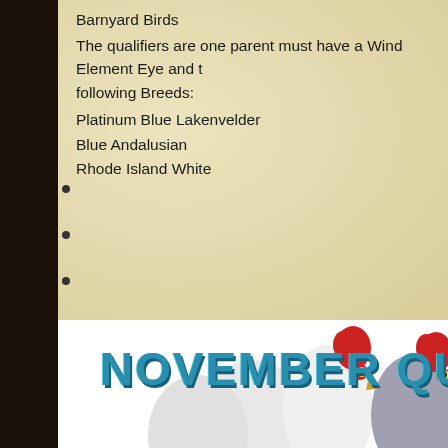Barnyard Birds
The qualifiers are one parent must have a Wind Element Eye and the following Breeds:
Platinum Blue Lakenvelder
Blue Andalusian
Rhode Island White
[Figure (illustration): November Qualifiers banner with cartoon chickens - two white roosters and one dark/grey rooster with red combs]
NOVEMBER QUAL...